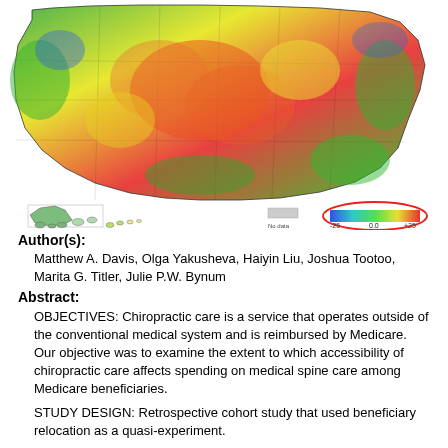[Figure (map): Choropleth map of the United States showing color-coded data by county, with a color scale bar ranging from -25 to +25 (blue to red), circled in red. Insets for Alaska and Hawaii. Legend notes 'No data available'.]
Author(s):
Matthew A. Davis, Olga Yakusheva, Haiyin Liu, Joshua Tootoo, Marita G. Titler, Julie P.W. Bynum
Abstract:
OBJECTIVES: Chiropractic care is a service that operates outside of the conventional medical system and is reimbursed by Medicare. Our objective was to examine the extent to which accessibility of chiropractic care affects spending on medical spine care among Medicare beneficiaries.
STUDY DESIGN: Retrospective cohort study that used beneficiary relocation as a quasi-experiment.
METHODS: We used a combination of national data on provider location and Medicare claims to perform a quasi-experi…
Date Published:  2019-08